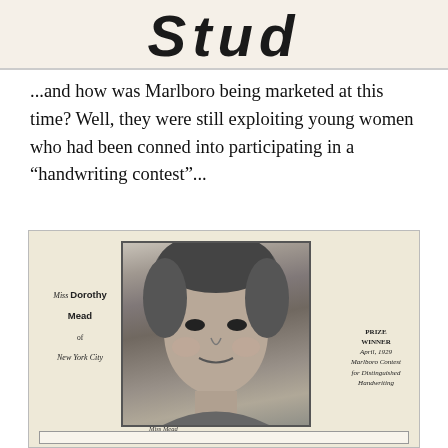[Figure (photo): Partial logo/title image showing bold stylized text 'Stud' at top of page]
...and how was Marlboro being marketed at this time? Well, they were still exploiting young women who had been conned into participating in a “handwriting contest”...
[Figure (photo): Vintage Marlboro advertisement featuring a black and white portrait photo of Miss Dorothy Mead of New York City, labeled as Prize Winner April 1929 Marlboro Contest for Distinguished Handwriting. Below the portrait is a handwriting sample in cursive reading: Marlboro - A Cigarette for Those Who Can Afford 20c for the Best]